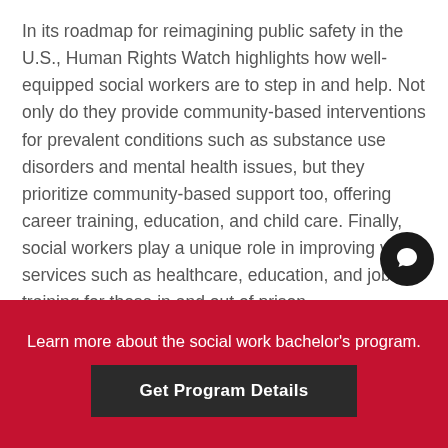In its roadmap for reimagining public safety in the U.S., Human Rights Watch highlights how well-equipped social workers are to step in and help. Not only do they provide community-based interventions for prevalent conditions such as substance use disorders and mental health issues, but they prioritize community-based support too, offering career training, education, and child care. Finally, social workers play a unique role in improving vital services such as healthcare, education, and job training for those in and out of prison.
Prioritizing community safety
Social workers are compassionate and dedicated to
Learn more about the social work bachelor's program.
Get Program Details